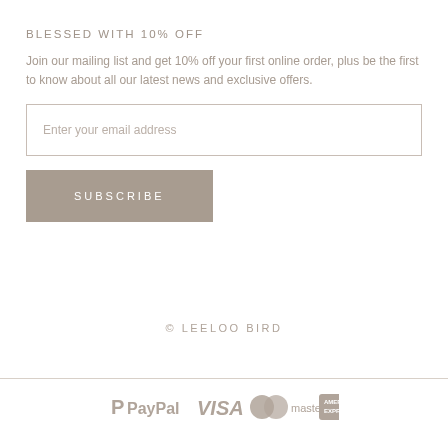BLESSED WITH 10% OFF
Join our mailing list and get 10% off your first online order, plus be the first to know about all our latest news and exclusive offers.
Enter your email address
SUBSCRIBE
© LEELOO BIRD
[Figure (logo): Payment method icons: PayPal, Visa, Mastercard, American Express]